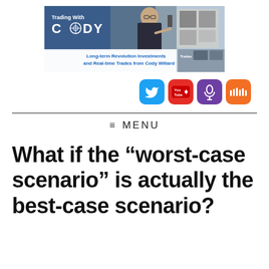[Figure (photo): Trading With Cody banner image showing a man in glasses gesturing, with text overlay: 'Long-term Revolution Investments and Real-time Trades from Cody Willard']
[Figure (infographic): Four social media icons in a row: Twitter (blue bird), YouTube (red), Podcast (purple), SoundCloud (orange)]
≡ MENU
What if the “worst-case scenario” is actually the best-case scenario?